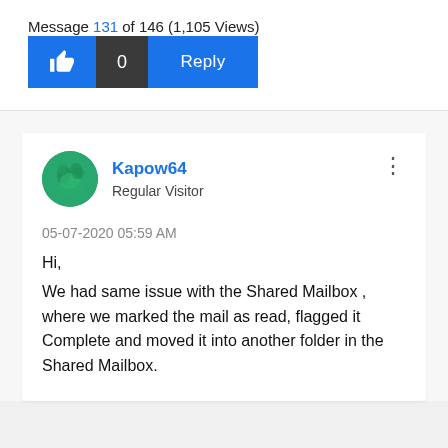Message 131 of 146 (1,105 Views)
[Figure (screenshot): Action bar with thumbs-up like button, count of 0, and Reply button]
[Figure (photo): Avatar circle for user Kapow64]
Kapow64
Regular Visitor
05-07-2020 05:59 AM
Hi,
We had same issue with the Shared Mailbox , where we marked the mail as read, flagged it Complete and moved it into another folder in the Shared Mailbox.